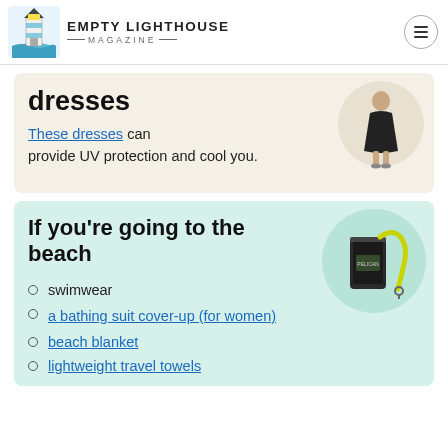Empty Lighthouse Magazine
dresses
These dresses can provide UV protection and cool you.
[Figure (photo): Woman wearing a black dress]
If you're going to the beach
[Figure (photo): Waterproof phone case with yellow lanyard]
swimwear
a bathing suit cover-up (for women)
beach blanket
lightweight travel towels